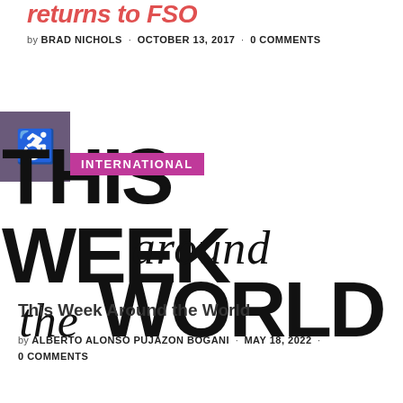returns to FSO
by BRAD NICHOLS · OCTOBER 13, 2017 · 0 COMMENTS
[Figure (illustration): Large typographic display reading 'THIS WEEK around the WORLD' with an INTERNATIONAL badge overlay and accessibility icon in purple box]
This Week Around the World
by ALBERTO ALONSO PUJAZON BOGANI · MAY 18, 2022 · 0 COMMENTS